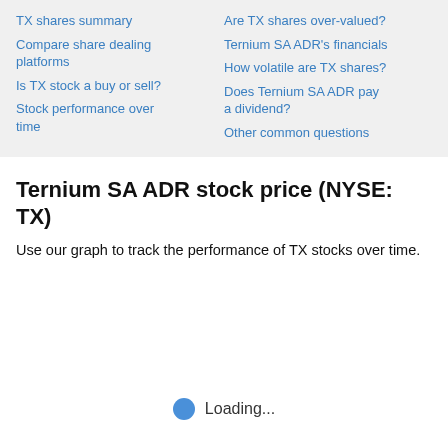TX shares summary
Compare share dealing platforms
Is TX stock a buy or sell?
Stock performance over time
Are TX shares over-valued?
Ternium SA ADR's financials
How volatile are TX shares?
Does Ternium SA ADR pay a dividend?
Other common questions
Ternium SA ADR stock price (NYSE: TX)
Use our graph to track the performance of TX stocks over time.
Loading...